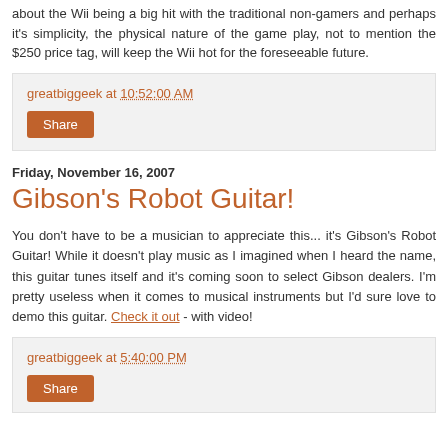about the Wii being a big hit with the traditional non-gamers and perhaps it's simplicity, the physical nature of the game play, not to mention the $250 price tag, will keep the Wii hot for the foreseeable future.
greatbiggeek at 10:52:00 AM
Share
Friday, November 16, 2007
Gibson's Robot Guitar!
You don't have to be a musician to appreciate this... it's Gibson's Robot Guitar! While it doesn't play music as I imagined when I heard the name, this guitar tunes itself and it's coming soon to select Gibson dealers. I'm pretty useless when it comes to musical instruments but I'd sure love to demo this guitar. Check it out - with video!
greatbiggeek at 5:40:00 PM
Share